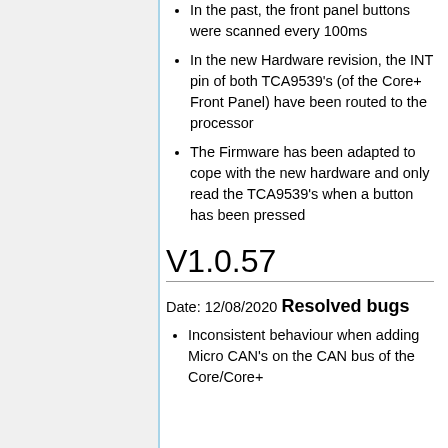In the past, the front panel buttons were scanned every 100ms
In the new Hardware revision, the INT pin of both TCA9539's (of the Core+ Front Panel) have been routed to the processor
The Firmware has been adapted to cope with the new hardware and only read the TCA9539's when a button has been pressed
V1.0.57
Date: 12/08/2020
Resolved bugs
Inconsistent behaviour when adding Micro CAN's on the CAN bus of the Core/Core+